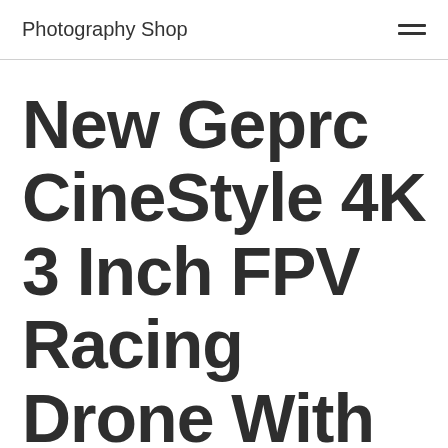Photography Shop
New Geprc CineStyle 4K 3 Inch FPV Racing Drone With F722